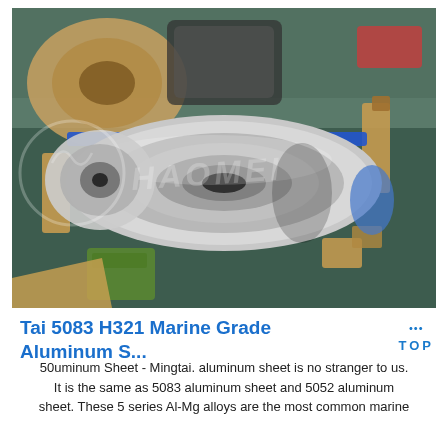[Figure (photo): Photograph of aluminum coil/spool rolls stacked and wrapped with blue strapping in a warehouse, viewed from above. Wooden supports visible. Various cardboard and packaging materials around. Watermark text overlaid on image.]
Tai 5083 H321 Marine Grade Aluminum S...
50uminum Sheet - Mingtai. aluminum sheet is no stranger to us. It is the same as 5083 aluminum sheet and 5052 aluminum sheet. These 5 series Al-Mg alloys are the most common marine